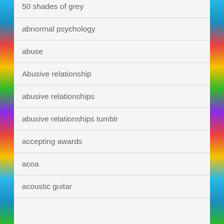50 shades of grey
abnormal psychology
abuse
Abusive relationship
abusive relationships
abusive relationships tumblr
accepting awards
acoa
acoustic guitar